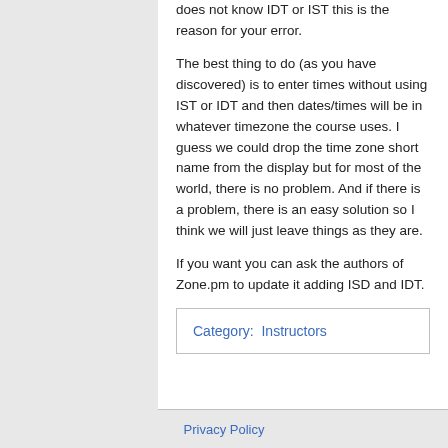does not know IDT or IST this is the reason for your error.
The best thing to do (as you have discovered) is to enter times without using IST or IDT and then dates/times will be in whatever timezone the course uses. I guess we could drop the time zone short name from the display but for most of the world, there is no problem. And if there is a problem, there is an easy solution so I think we will just leave things as they are.
If you want you can ask the authors of Zone.pm to update it adding ISD and IDT.
Category:  Instructors
Privacy Policy